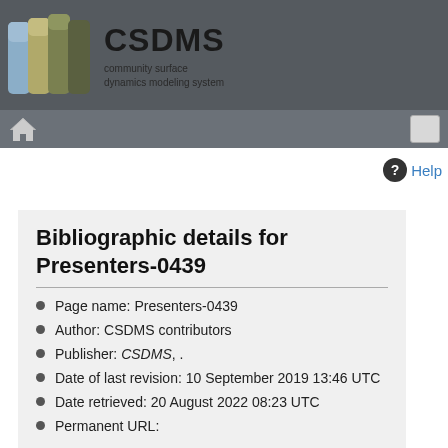CSDMS community surface dynamics modeling system
Bibliographic details for Presenters-0439
Page name: Presenters-0439
Author: CSDMS contributors
Publisher: CSDMS, .
Date of last revision: 10 September 2019 13:46 UTC
Date retrieved: 20 August 2022 08:23 UTC
Permanent URL: